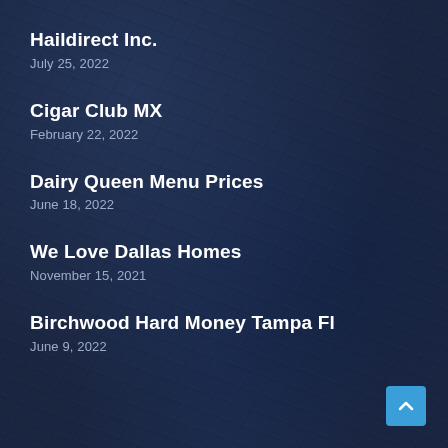Haildirect Inc.
July 25, 2022
Cigar Club MX
February 22, 2022
Dairy Queen Menu Prices
June 18, 2022
We Love Dallas Homes
November 15, 2021
Birchwood Hard Money Tampa Fl
June 9, 2022